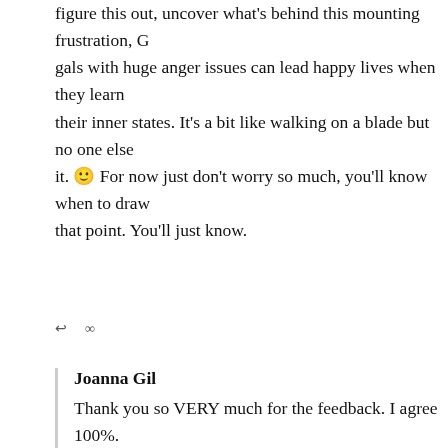figure this out, uncover what's behind this mounting frustration. Gals with huge anger issues can lead happy lives when they learn their inner states. It's a bit like walking on a blade but no one else it. 🙂 For now just don't worry so much, you'll know when to draw that point. You'll just know.
↩  ∞
Joanna Gil
Thank you so VERY much for the feedback. I agree 100%.
I want to let you know that I read your pdf, and it is absolutely i the depth of content is profound, and I was amazed at how the c TRUTH. It brought me a lot of peace to know that meditation, b wise words, can become a real solution to my situation. Since I acknowledge where I go wrong and how I play a role in shorten start to meditate myself as a way of dealing with my own set of mistakes (this way he becomes inspired by my personal change